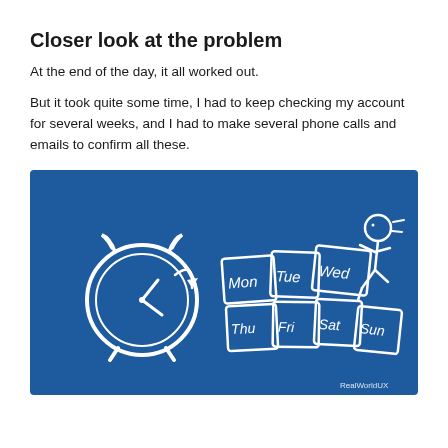Closer look at the problem
At the end of the day, it all worked out.
But it took quite some time, I had to keep checking my account for several weeks, and I had to make several phone calls and emails to confirm all these.
[Figure (illustration): Blue illustrated image showing a hand-drawn alarm clock on the left, calendar tiles for Mon, Tue, Wed, Thu, Fri, Sat, Sun in the center, and a running stick figure on the right. The brand mark 'RealWorldUX' is in the bottom right corner.]